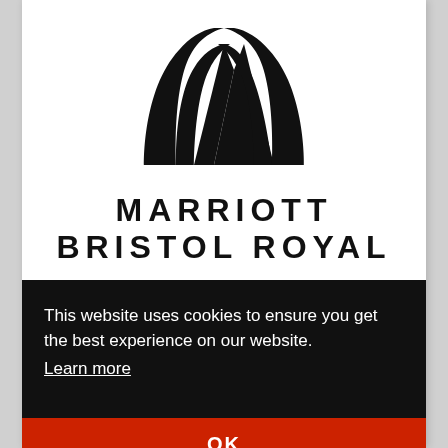[Figure (logo): Marriott Hotels logo — stylized M lettermark in black above the text 'MARRIOTT BRISTOL ROYAL' in bold sans-serif capitals]
This website uses cookies to ensure you get the best experience on our website.
Learn more
OK